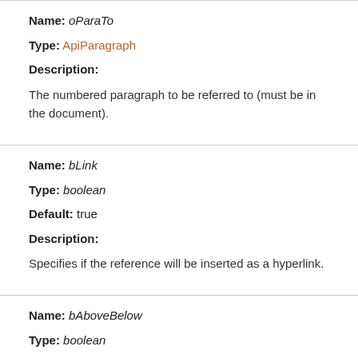Name: oParaTo
Type: ApiParagraph
Description:
The numbered paragraph to be referred to (must be in the document).
Name: bLink
Type: boolean
Default: true
Description:
Specifies if the reference will be inserted as a hyperlink.
Name: bAboveBelow
Type: boolean